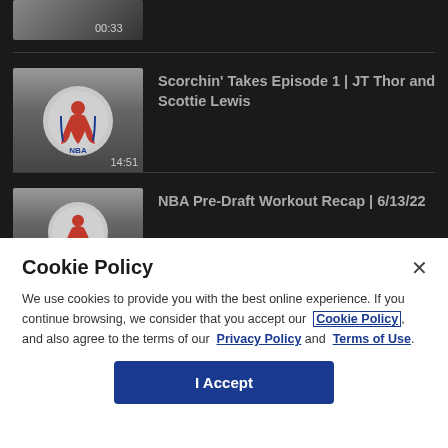[Figure (screenshot): Video thumbnail at top, partially visible, with duration 00:33]
[Figure (screenshot): NBA video thumbnail showing NBA logo, title: Scorchin' Takes Episode 1 | JT Thor and Scottie Lewis, duration 14:51]
Scorchin' Takes Episode 1 | JT Thor and Scottie Lewis
[Figure (screenshot): NBA video thumbnail showing NBA logo, title: NBA Pre-Draft Workout Recap | 6/13/22]
NBA Pre-Draft Workout Recap | 6/13/22
Cookie Policy
We use cookies to provide you with the best online experience. If you continue browsing, we consider that you accept our Cookie Policy, and also agree to the terms of our Privacy Policy and Terms of Use.
I Accept